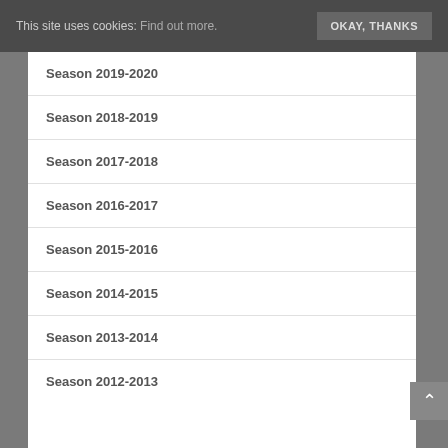This site uses cookies: Find out more. OKAY, THANKS
Season 2019-2020
Season 2018-2019
Season 2017-2018
Season 2016-2017
Season 2015-2016
Season 2014-2015
Season 2013-2014
Season 2012-2013